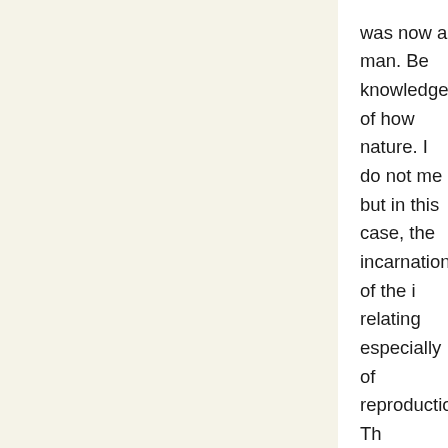was now a man. Be knowledge of how nature. I do not me but in this case, the incarnation of the i relating especially of reproduction. Th especially in these
Now we see the tw between death and the dawn of the Ag experienced the fir woman and in her interesting that bot incarnation, i.e., in now incarnated sim ancient time, and a